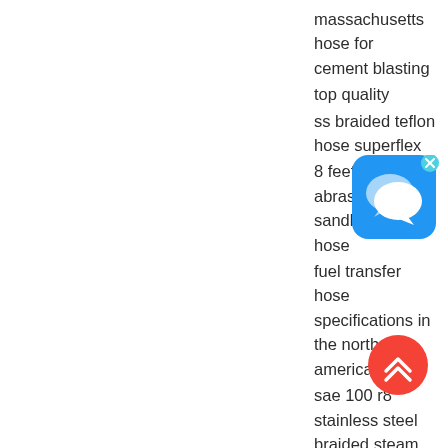massachusetts hose for cement blasting
top quality
ss braided teflon hose superflex
8 feet hi abrasive sandblasting hose
fuel transfer hose specifications in the north america
sae 100 r8 stainless steel braided steam hose